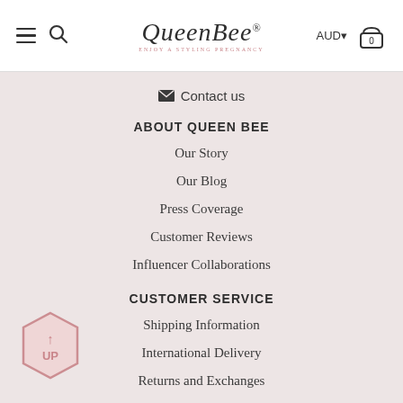QueenBee — ENJOY A STYLING PREGNANCY — AUD 0 (cart)
Contact us
ABOUT QUEEN BEE
Our Story
Our Blog
Press Coverage
Customer Reviews
Influencer Collaborations
CUSTOMER SERVICE
Shipping Information
International Delivery
Returns and Exchanges
FAQs
Size Guide
Afterpay at Queen Bee